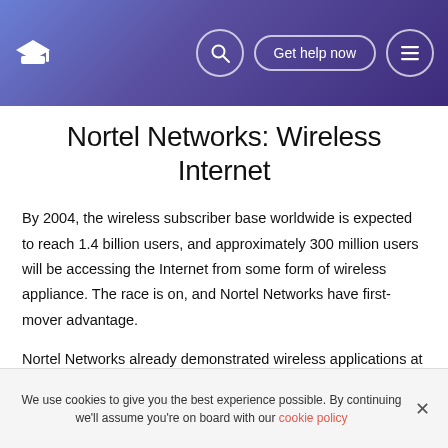Nortel Networks: Wireless Internet — site header with logo, search, Get help now, menu
Nortel Networks: Wireless Internet
By 2004, the wireless subscriber base worldwide is expected to reach 1.4 billion users, and approximately 300 million users will be accessing the Internet from some form of wireless appliance. The race is on, and Nortel Networks have first-mover advantage.
Nortel Networks already demonstrated wireless applications at speeds more than 25 times faster than today's industry
We use cookies to give you the best experience possible. By continuing we'll assume you're on board with our cookie policy